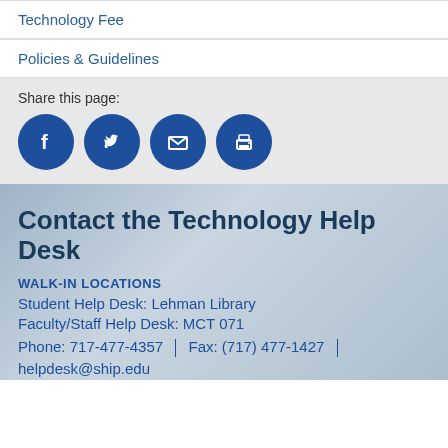Technology Fee
Policies & Guidelines
Share this page:
[Figure (infographic): Four circular blue social sharing icons: Facebook, Twitter, Email, and Print]
Contact the Technology Help Desk
WALK-IN LOCATIONS
Student Help Desk: Lehman Library
Faculty/Staff Help Desk: MCT 071
Phone: 717-477-4357  |  Fax: (717) 477-1427  |
helpdesk@ship.edu